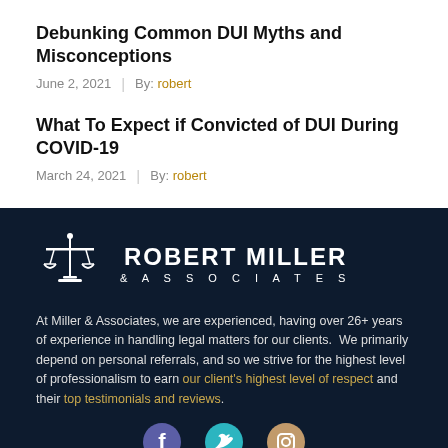Debunking Common DUI Myths and Misconceptions
June 2, 2021  |  By: robert
What To Expect if Convicted of DUI During COVID-19
March 24, 2021  |  By: robert
[Figure (logo): Robert Miller & Associates law firm logo: scales of justice icon in white with firm name in white text on dark navy background]
At Miller & Associates, we are experienced, having over 26+ years of experience in handling legal matters for our clients.  We primarily depend on personal referrals, and so we strive for the highest level of professionalism to earn our client's highest level of respect and their top testimonials and reviews.
[Figure (other): Social media icons: Facebook (blue/purple circle), Twitter (teal circle), Instagram (tan/gold circle)]